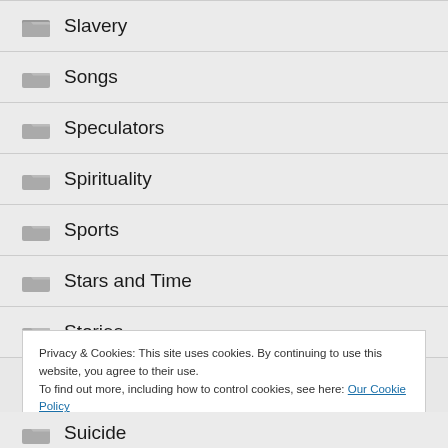Slavery
Songs
Speculators
Spirituality
Sports
Stars and Time
Stories
Privacy & Cookies: This site uses cookies. By continuing to use this website, you agree to their use.
To find out more, including how to control cookies, see here: Our Cookie Policy
Suicide